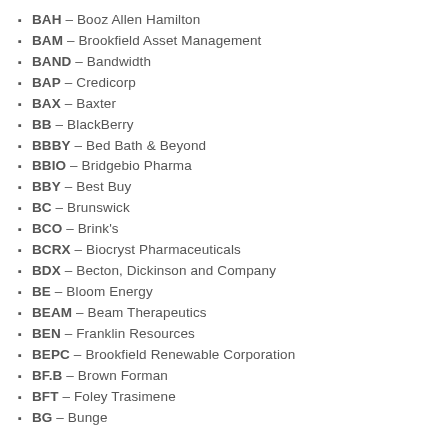BAH – Booz Allen Hamilton
BAM – Brookfield Asset Management
BAND – Bandwidth
BAP – Credicorp
BAX – Baxter
BB – BlackBerry
BBBY – Bed Bath & Beyond
BBIO – Bridgebio Pharma
BBY – Best Buy
BC – Brunswick
BCO – Brink's
BCRX – Biocryst Pharmaceuticals
BDX – Becton, Dickinson and Company
BE – Bloom Energy
BEAM – Beam Therapeutics
BEN – Franklin Resources
BEPC – Brookfield Renewable Corporation
BF.B – Brown Forman
BFT – Foley Trasimene
BG – Bunge